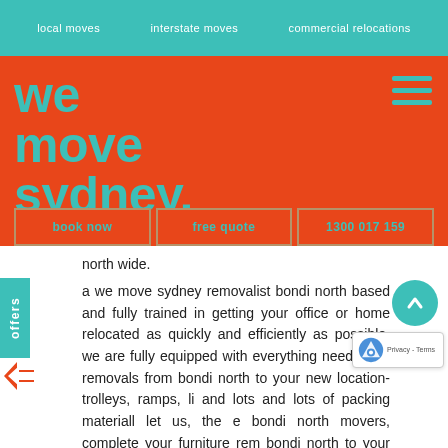local moves  interstate moves  commercial relocations
We Move Sydney.
book now   free quote   1300 017 159
north wide.
a we move sydney removalist bondi north based and fully trained in getting your office or home relocated as quickly and efficiently as possible. we are fully equipped with everything needed for removals from bondi north to your new location- trolleys, ramps, li and lots and lots of packing materiall let us, the e bondi north movers, complete your furniture rem bondi north to your next destination - stress free